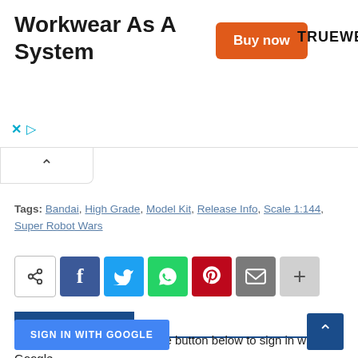[Figure (other): Advertisement banner for Truewerk workwear with title 'Workwear As A System', orange 'Buy now' button, and TRUEWERK brand name]
Tags: Bandai, High Grade, Model Kit, Release Info, Scale 1:144, Super Robot Wars
[Figure (other): Social share buttons row: generic share, Facebook, Twitter, WhatsApp, Pinterest, Email, plus]
Post a Comment
To leave a comment, click the button below to sign in with Google.
SIGN IN WITH GOOGLE